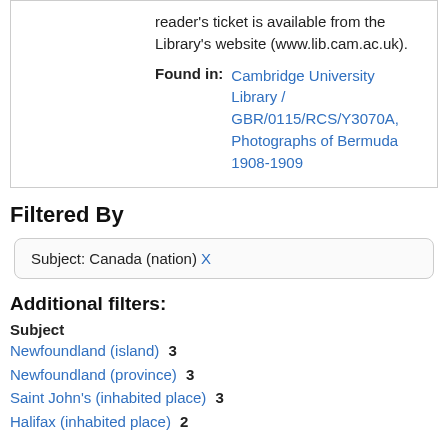reader's ticket is available from the Library's website (www.lib.cam.ac.uk).
Found in: Cambridge University Library / GBR/0115/RCS/Y3070A, Photographs of Bermuda 1908-1909
Filtered By
Subject: Canada (nation) X
Additional filters:
Subject
Newfoundland (island) 3
Newfoundland (province) 3
Saint John's (inhabited place) 3
Halifax (inhabited place) 2